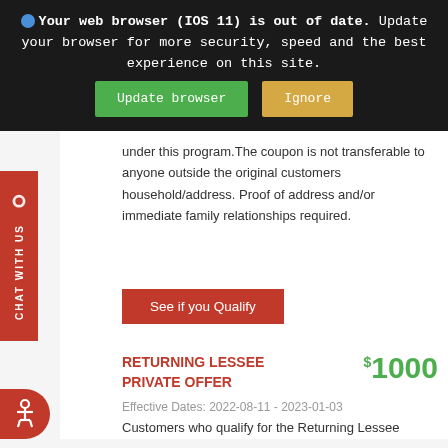Your web browser (IOS 11) is out of date. Update your browser for more security, speed and the best experience on this site.
Update browser   Ignore
under this program.The coupon is not transferable to anyone outside the original customers household/address. Proof of address and/or immediate family relationships required.
See if you Qualify
RETURNING LESSEE PRIVATE OFFER
$1000
Effective Dates: 2022-08-11 - 2023-01-03
Customers who qualify for the Returning Lessee Private Offer are automatically qualified to receive benefit under this program.